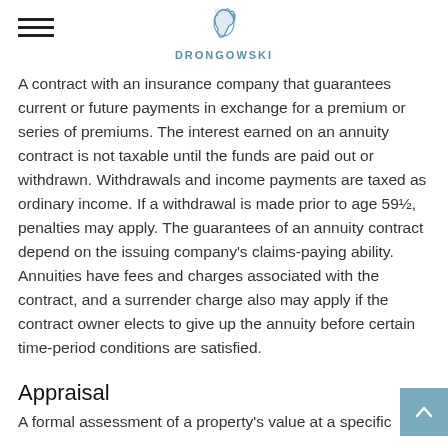DRONGOWSKI
A contract with an insurance company that guarantees current or future payments in exchange for a premium or series of premiums. The interest earned on an annuity contract is not taxable until the funds are paid out or withdrawn. Withdrawals and income payments are taxed as ordinary income. If a withdrawal is made prior to age 59½, penalties may apply. The guarantees of an annuity contract depend on the issuing company's claims-paying ability. Annuities have fees and charges associated with the contract, and a surrender charge also may apply if the contract owner elects to give up the annuity before certain time-period conditions are satisfied.
Appraisal
A formal assessment of a property's value at a specific